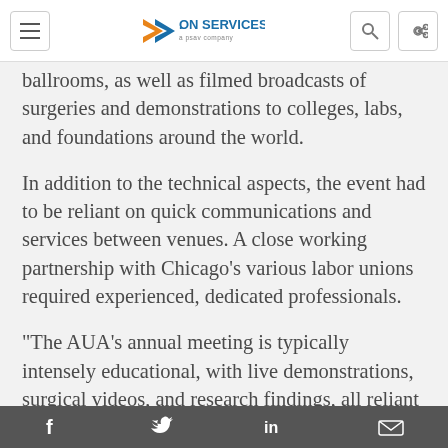ON SERVICES. (logo)
ballrooms, as well as filmed broadcasts of surgeries and demonstrations to colleges, labs, and foundations around the world.
In addition to the technical aspects, the event had to be reliant on quick communications and services between venues. A close working partnership with Chicago’s various labor unions required experienced, dedicated professionals.
“The AUA’s annual meeting is typically intensely educational, with live demonstrations, surgical videos, and research findings, all reliant on
f  •  (Twitter bird)  •  in  •  (mail icon)